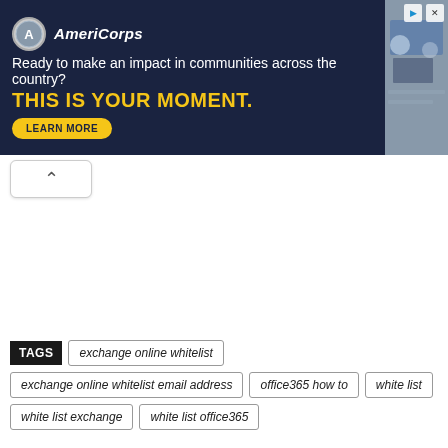[Figure (screenshot): AmeriCorps advertisement banner with dark navy background. Shows AmeriCorps logo, text 'Ready to make an impact in communities across the country?' and bold yellow text 'THIS IS YOUR MOMENT.' with a 'LEARN MORE' button. Right side shows a photo of people at computers.]
^
TAGS   exchange online whitelist   exchange online whitelist email address   office365 how to   white list   white list exchange   white list office365